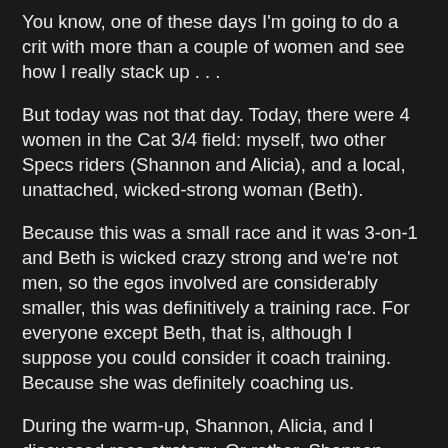You know, one of these days I'm going to do a crit with more than a couple of women and see how I really stack up . . .
But today was not that day. Today, there were 4 women in the Cat 3/4 field: myself, two other Specs riders (Shannon and Alicia), and a local, unattached, wicked-strong woman (Beth).
Because this was a small race and it was 3-on-1 and Beth is wicked crazy strong and we're not men, so the egos involved are considerably smaller, this was definitively a training race. For everyone except Beth, that is, although I suppose you could consider it coach training. Because she was definitely coaching us.
During the warm-up, Shannon, Alicia, and I discussed race strategy. Or rather, Shannon related what Beth had suggested that we do. May I just say that riding with teammates is a blast. I enjoy the aspect of team strategy and having a few partners to rely on.
Our strategy was to keep trying to attack, constantly making